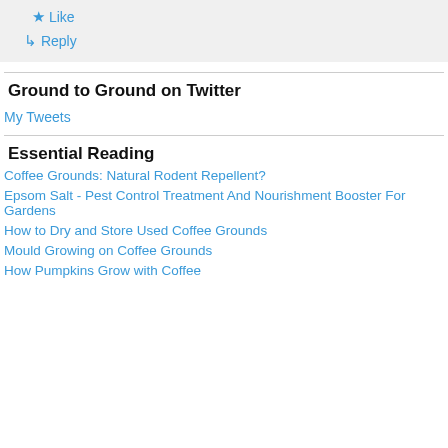Like
Reply
Ground to Ground on Twitter
My Tweets
Essential Reading
Coffee Grounds: Natural Rodent Repellent?
Epsom Salt - Pest Control Treatment And Nourishment Booster For Gardens
How to Dry and Store Used Coffee Grounds
Mould Growing on Coffee Grounds
How Pumpkins Grow with Coffee